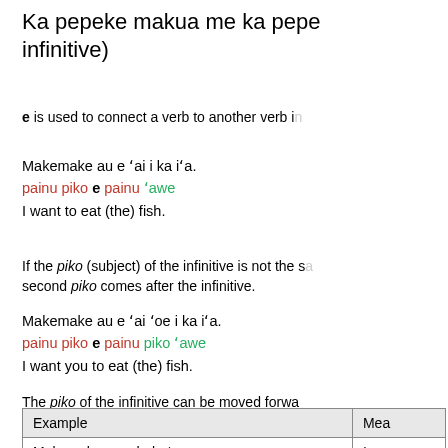Ka pepeke makua me ka pepeke 'awe (Verb + infinitive)
e is used to connect a verb to another verb in...
Makemake au e 'ai i ka i'a.
painu piko e painu 'awe
I want to eat (the) fish.
If the piko (subject) of the infinitive is not the same as the subject of the first verb, the second piko comes after the infinitive.
Makemake au e 'ai 'oe i ka i'a.
painu piko e painu piko 'awe
I want you to eat (the) fish.
The piko of the infinitive can be moved forward to appear directly after the first verb, before the 'awe of the first verb with no change in the meaning.
| Example | Mea... |
| --- | --- |
| Makemake au e hele 'oe. | I wa... |